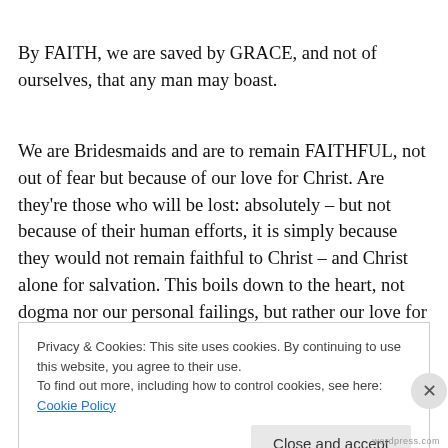By FAITH, we are saved by GRACE, and not of ourselves, that any man may boast.
We are Bridesmaids and are to remain FAITHFUL, not out of fear but because of our love for Christ. Are they're those who will be lost: absolutely – but not because of their human efforts, it is simply because they would not remain faithful to Christ – and Christ alone for salvation. This boils down to the heart, not dogma nor our personal failings, but rather our love for the Bridegroom. Which is all based in
Privacy & Cookies: This site uses cookies. By continuing to use this website, you agree to their use.
To find out more, including how to control cookies, see here: Cookie Policy
Close and accept